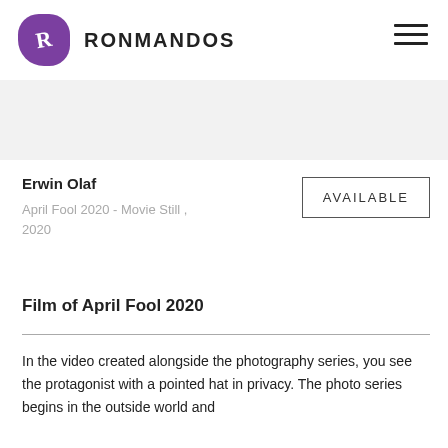RONMANDOS
Erwin Olaf
April Fool 2020 - Movie Still , 2020
AVAILABLE
Film of April Fool 2020
In the video created alongside the photography series, you see the protagonist with a pointed hat in privacy. The photo series begins in the outside world and